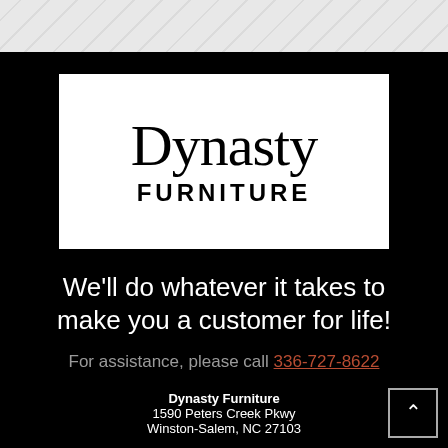[Figure (other): Gray diagonal striped decorative top strip background]
[Figure (logo): Dynasty Furniture logo: white rectangle with 'Dynasty' in large serif font above 'FURNITURE' in bold sans-serif caps with wide letter spacing]
We'll do whatever it takes to make you a customer for life!
For assistance, please call 336-727-8622
Dynasty Furniture
1590 Peters Creek Pkwy
Winston-Salem, NC 27103